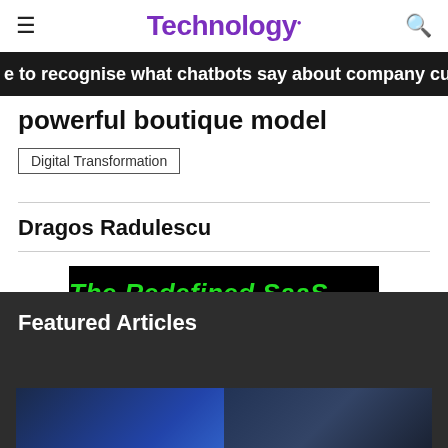Technology.
e to recognise what chatbots say about company culture
powerful boutique model
Digital Transformation
Dragos Radulescu
[Figure (other): Advertisement banner: black background with green bold italic text reading 'The Redefined SaaS CFO']
Featured Articles
[Figure (photo): Featured article image showing dark blue technological/digital imagery]